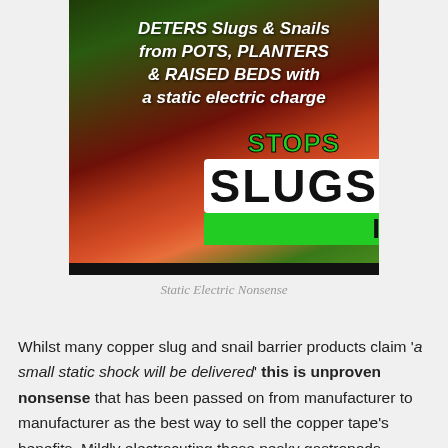[Figure (photo): Photo of a product package for a copper slug/snail barrier. Text on the package reads: 'DETERS Slugs & Snails from POTS, PLANTERS & RAISED BEDS with a static electric charge' and prominently shows 'STOPS SLUGS' with 'I' partially visible.]
Static Electric Nonsense
Whilst many copper slug and snail barrier products claim 'a small static shock will be delivered' this is unproven nonsense that has been passed on from manufacturer to manufacturer as the best way to sell the copper tape's benefits. Mildly electrocuting those pesky gastropods sounds nice doesn't it after